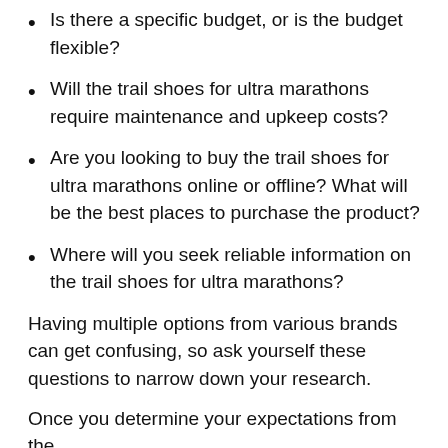Is there a specific budget, or is the budget flexible?
Will the trail shoes for ultra marathons require maintenance and upkeep costs?
Are you looking to buy the trail shoes for ultra marathons online or offline? What will be the best places to purchase the product?
Where will you seek reliable information on the trail shoes for ultra marathons?
Having multiple options from various brands can get confusing, so ask yourself these questions to narrow down your research.
Once you determine your expectations from the